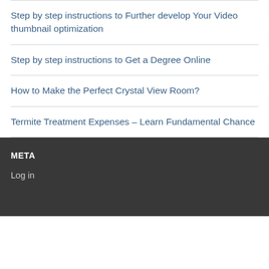Step by step instructions to Further develop Your Video thumbnail optimization
Step by step instructions to Get a Degree Online
How to Make the Perfect Crystal View Room?
Termite Treatment Expenses – Learn Fundamental Chance
META
Log in